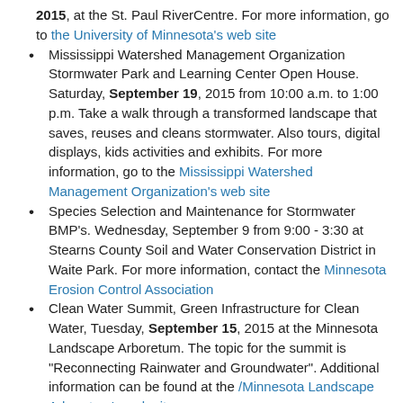Minnesota Water Resources Conference, October 12-14, 2015, at the St. Paul RiverCentre. For more information, go to the University of Minnesota's web site
Mississippi Watershed Management Organization Stormwater Park and Learning Center Open House. Saturday, September 19, 2015 from 10:00 a.m. to 1:00 p.m. Take a walk through a transformed landscape that saves, reuses and cleans stormwater. Also tours, digital displays, kids activities and exhibits. For more information, go to the Mississippi Watershed Management Organization's web site
Species Selection and Maintenance for Stormwater BMP's. Wednesday, September 9 from 9:00 - 3:30 at Stearns County Soil and Water Conservation District in Waite Park. For more information, contact the Minnesota Erosion Control Association
Clean Water Summit, Green Infrastructure for Clean Water, Tuesday, September 15, 2015 at the Minnesota Landscape Arboretum. The topic for the summit is "Reconnecting Rainwater and Groundwater". Additional information can be found at the /Minnesota Landscape Arboretum's web site
Erosion and Sediment Control Field Seminar, Wednesday June 17, 2015 in Mankato, MN. For more information, go to